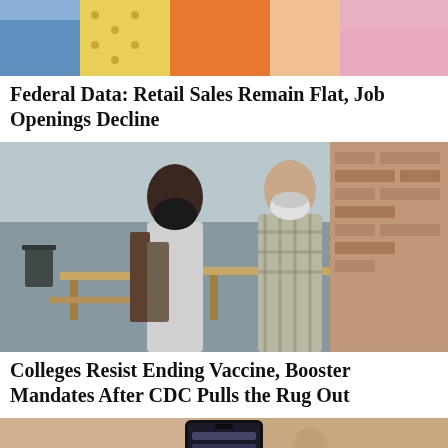[Figure (photo): Partial photo of people holding colorful shopping bags (cropped at top)]
Federal Data: Retail Sales Remain Flat, Job Openings Decline
[Figure (photo): Two young women wearing face masks walking outdoors near tables and benches, with a brick building in the background]
Colleges Resist Ending Vaccine, Booster Mandates After CDC Pulls the Rug Out
[Figure (photo): Partial photo showing a person holding a smartphone (cropped, only partial face and phone visible)]